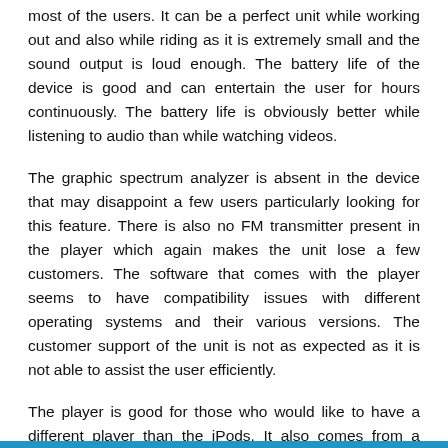most of the users. It can be a perfect unit while working out and also while riding as it is extremely small and the sound output is loud enough. The battery life of the device is good and can entertain the user for hours continuously. The battery life is obviously better while listening to audio than while watching videos.
The graphic spectrum analyzer is absent in the device that may disappoint a few users particularly looking for this feature. There is also no FM transmitter present in the player which again makes the unit lose a few customers. The software that comes with the player seems to have compatibility issues with different operating systems and their various versions. The customer support of the unit is not as expected as it is not able to assist the user efficiently.
The player is good for those who would like to have a different player than the iPods. It also comes from a reliable brand name making it a nice bargain for the price.